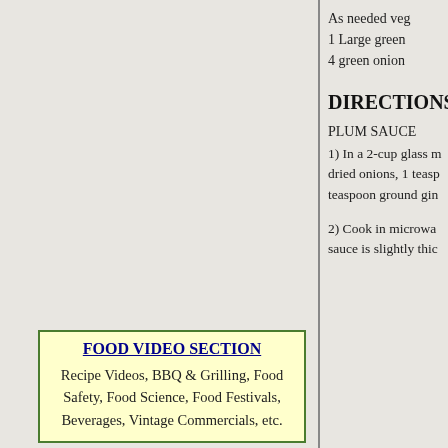As needed veg
1 Large green
4 green onion
DIRECTIONS
PLUM SAUCE
1) In a 2-cup glass m dried onions, 1 teasp teaspoon ground gin
2) Cook in microwa sauce is slightly thic
FOOD VIDEO SECTION
Recipe Videos, BBQ & Grilling, Food Safety, Food Science, Food Festivals, Beverages, Vintage Commercials, etc.